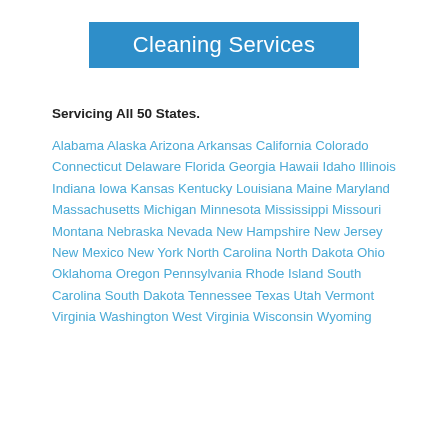Cleaning Services
Servicing All 50 States.
Alabama Alaska Arizona Arkansas California Colorado Connecticut Delaware Florida Georgia Hawaii Idaho Illinois Indiana Iowa Kansas Kentucky Louisiana Maine Maryland Massachusetts Michigan Minnesota Mississippi Missouri Montana Nebraska Nevada New Hampshire New Jersey New Mexico New York North Carolina North Dakota Ohio Oklahoma Oregon Pennsylvania Rhode Island South Carolina South Dakota Tennessee Texas Utah Vermont Virginia Washington West Virginia Wisconsin Wyoming